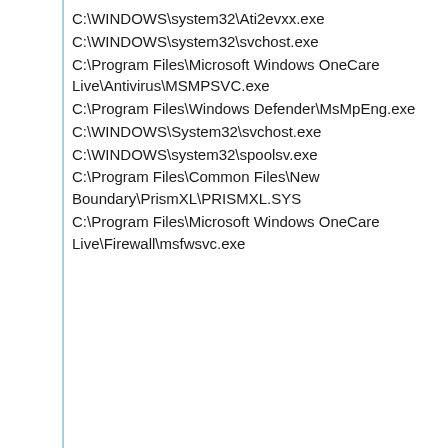C:\WINDOWS\system32\Ati2evxx.exe
C:\WINDOWS\system32\svchost.exe
C:\Program Files\Microsoft Windows OneCare Live\Antivirus\MSMPSVC.exe
C:\Program Files\Windows Defender\MsMpEng.exe
C:\WINDOWS\System32\svchost.exe
C:\WINDOWS\system32\spoolsv.exe
C:\Program Files\Common Files\New Boundary\PrismXL\PRISMXL.SYS
C:\Program Files\Microsoft Windows OneCare Live\Firewall\msfwsvc.exe